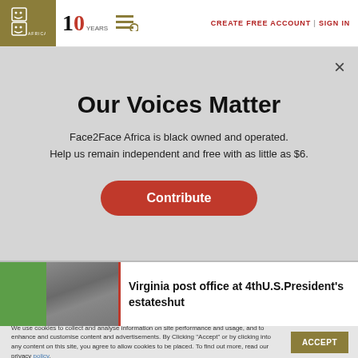Face2Face Africa | 10 YEARS | CREATE FREE ACCOUNT | SIGN IN
Our Voices Matter
Face2Face Africa is black owned and operated. Help us remain independent and free with as little as $6.
Contribute
[Figure (photo): News article thumbnail showing green foliage and gray rooftop/slate texture]
Virginia post office at 4thU.S.President's estateshut
We use cookies to collect and analyse information on site performance and usage, and to enhance and customise content and advertisements. By Clicking "Accept" or by clicking into any content on this site, you agree to allow cookies to be placed. To find out more, read our privacy policy.
ACCEPT